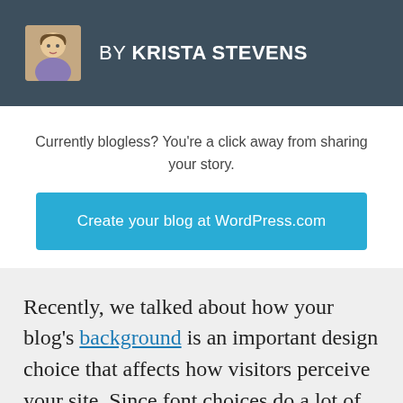BY KRISTA STEVENS
Currently blogless? You're a click away from sharing your story.
Create your blog at WordPress.com
Recently, we talked about how your blog's background is an important design choice that affects how visitors perceive your site. Since font choices do a lot of talking on behalf of your blog, today, we'll look at what they're